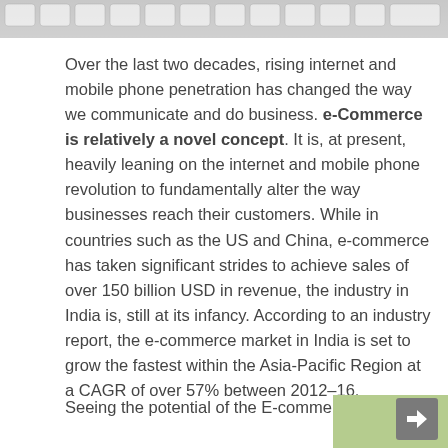[Figure (photo): Partial view of a keyboard, cropped at the top of the page, showing light-colored keys on a gray background.]
Over the last two decades, rising internet and mobile phone penetration has changed the way we communicate and do business. e-Commerce is relatively a novel concept. It is, at present, heavily leaning on the internet and mobile phone revolution to fundamentally alter the way businesses reach their customers. While in countries such as the US and China, e-commerce has taken significant strides to achieve sales of over 150 billion USD in revenue, the industry in India is, still at its infancy. According to an industry report, the e-commerce market in India is set to grow the fastest within the Asia-Pacific Region at a CAGR of over 57% between 2012–16.
Seeing the potential of the E-commerce industry,